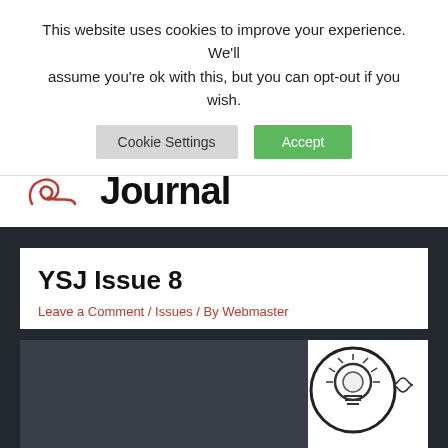This website uses cookies to improve your experience. We'll assume you're ok with this, but you can opt-out if you wish.
[Figure (screenshot): Cookie consent buttons: 'Cookie Settings' (grey) and 'Accept' (green)]
[Figure (logo): YSJ logo with red handwritten swirl and 'Journal' in bold black text]
YSJ Issue 8
Leave a Comment / Issues / By Webmaster
[Figure (illustration): Partial view of a lightbulb-head puzzle illustration on white background, partially cropped on the right side of a dark background image area]